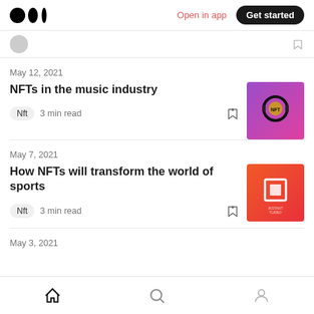Medium — Open in app | Get started
May 12, 2021
NFTs in the music industry
Nft · 3 min read
May 7, 2021
How NFTs will transform the world of sports
Nft · 3 min read
May 3, 2021